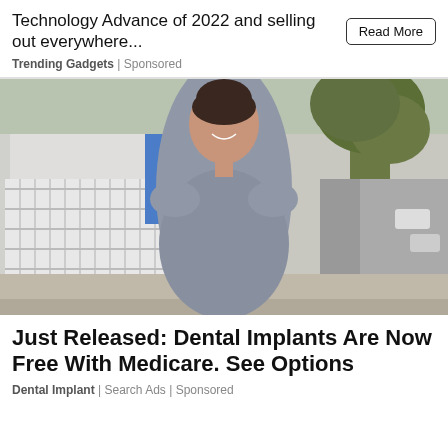Technology Advance of 2022 and selling out everywhere...
Trending Gadgets | Sponsored
[Figure (photo): Woman in grey dress smiling on a sidewalk with trees and buildings in background]
Just Released: Dental Implants Are Now Free With Medicare. See Options
Dental Implant | Search Ads | Sponsored